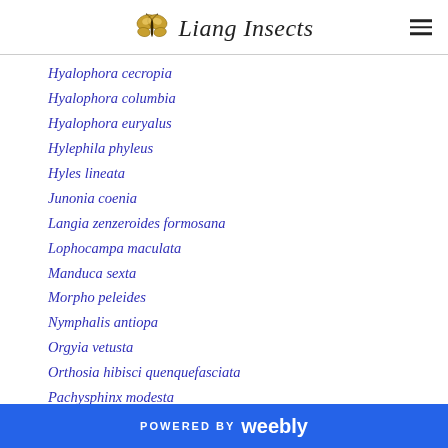Liang Insects
Hyalophora cecropia
Hyalophora columbia
Hyalophora euryalus
Hylephila phyleus
Hyles lineata
Junonia coenia
Langia zenzeroides formosana
Lophocampa maculata
Manduca sexta
Morpho peleides
Nymphalis antiopa
Orgyia vetusta
Orthosia hibisci quenquefasciata
Pachysphinx modesta
POWERED BY weebly